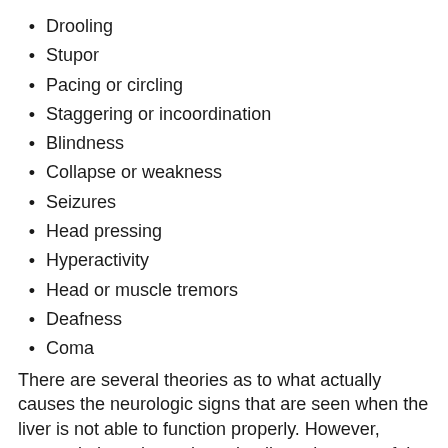Drooling
Stupor
Pacing or circling
Staggering or incoordination
Blindness
Collapse or weakness
Seizures
Head pressing
Hyperactivity
Head or muscle tremors
Deafness
Coma
There are several theories as to what actually causes the neurologic signs that are seen when the liver is not able to function properly. However, ammonia has always been implicated as one of the important toxins that contribute to neurologic signs. The liver converts ammonia into urea. When the liver is too diseased to